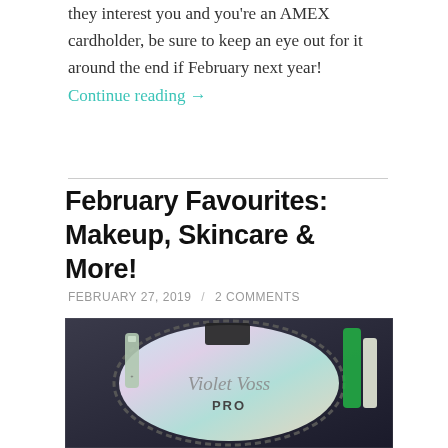they interest you and you're an AMEX cardholder, be sure to keep an eye out for it around the end if February next year! Continue reading →
February Favourites: Makeup, Skincare & More!
FEBRUARY 27, 2019 / 2 COMMENTS
[Figure (photo): Photo of makeup products including a Violet Voss PRO palette and other beauty items arranged on a holographic surface]